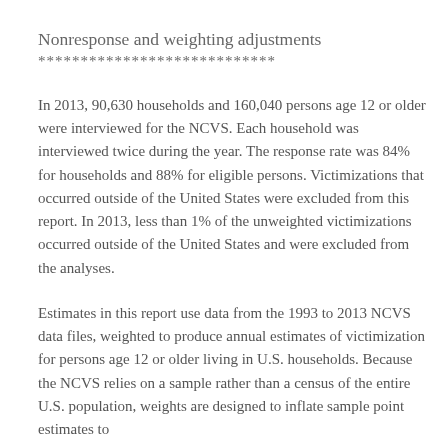Nonresponse and weighting adjustments
****************************
In 2013, 90,630 households and 160,040 persons age 12 or older were interviewed for the NCVS. Each household was interviewed twice during the year. The response rate was 84% for households and 88% for eligible persons. Victimizations that occurred outside of the United States were excluded from this report. In 2013, less than 1% of the unweighted victimizations occurred outside of the United States and were excluded from the analyses.
Estimates in this report use data from the 1993 to 2013 NCVS data files, weighted to produce annual estimates of victimization for persons age 12 or older living in U.S. households. Because the NCVS relies on a sample rather than a census of the entire U.S. population, weights are designed to inflate sample point estimates to...